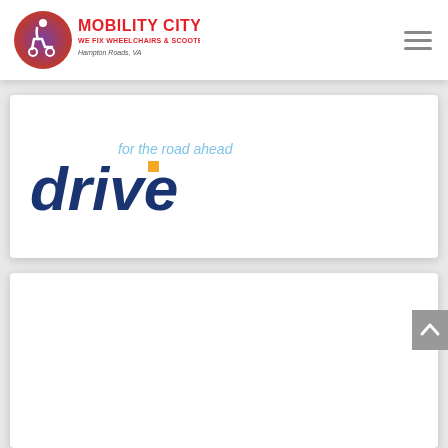Mobility City — WE FIX WHEELCHAIRS & SCOOTERS ... AND MORE! Hampton Roads, VA
[Figure (logo): Drive Medical logo — italic blue 'drive' wordmark with orange square accent on the letter 'i', and light blue tagline 'for the road ahead']
[Figure (other): Second white card panel below the Drive logo card — empty visible area]